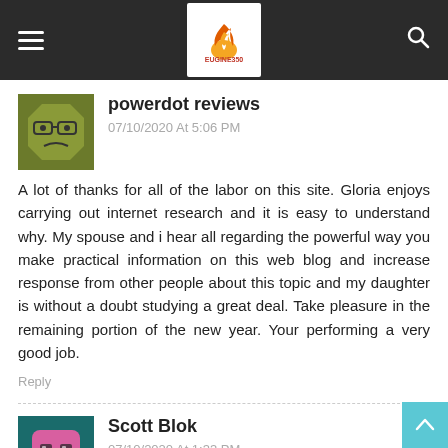EUGINE350 website header with hamburger menu, logo, and search icon
powerdot reviews
07/10/2020 At 5:06 PM
A lot of thanks for all of the labor on this site. Gloria enjoys carrying out internet research and it is easy to understand why. My spouse and i hear all regarding the powerful way you make practical information on this web blog and increase response from other people about this topic and my daughter is without a doubt studying a great deal. Take pleasure in the remaining portion of the new year. Your performing a very good job.
Reply
Scott Blok
07/10/2020 At 1:33 PM
I wanted to convey Appreciate delivering this info, you